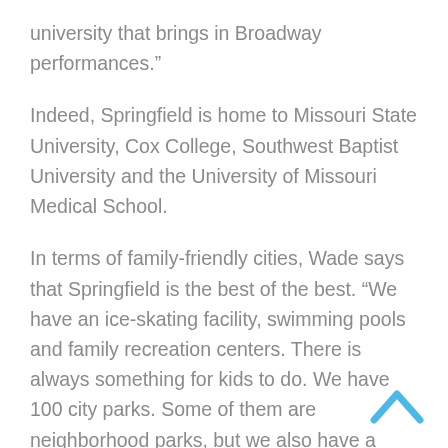university that brings in Broadway performances.”
Indeed, Springfield is home to Missouri State University, Cox College, Southwest Baptist University and the University of Missouri Medical School.
In terms of family-friendly cities, Wade says that Springfield is the best of the best. “We have an ice-skating facility, swimming pools and family recreation centers. There is always something for kids to do. We have 100 city parks. Some of them are neighborhood parks, but we also have a botanical center and a farm park with livestock.”